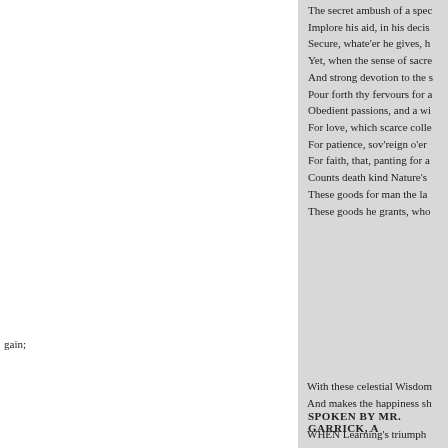The secret ambush of a spec
Implore his aid, in his decis
Secure, whate'er he gives, h
Yet, when the sense of sacre
And strong devotion to the s
Pour forth thy fervours for a
Obedient passions, and a wi
For love, which scarce colle
For patience, sov'reign o'er
For faith, that, panting for a
Counts death kind Nature's
These goods for man the la
These goods he grants, who
gain;
With these celestial Wisdom
And makes the happiness sh
SPOKEN BY MR. GARRICK, A
WHEN Learning's triumph